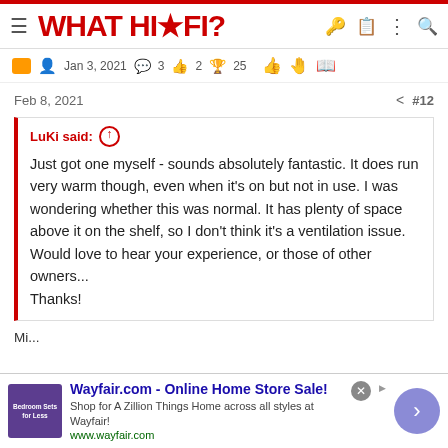WHAT HI-FI?
Jan 3, 2021   3   2   25
Feb 8, 2021   #12
LuKi said: ↑

Just got one myself - sounds absolutely fantastic. It does run very warm though, even when it's on but not in use. I was wondering whether this was normal. It has plenty of space above it on the shelf, so I don't think it's a ventilation issue. Would love to hear your experience, or those of other owners...
Thanks!
[Figure (screenshot): Wayfair.com advertisement banner - Online Home Store Sale! Shop for A Zillion Things Home across all styles at Wayfair! www.wayfair.com]